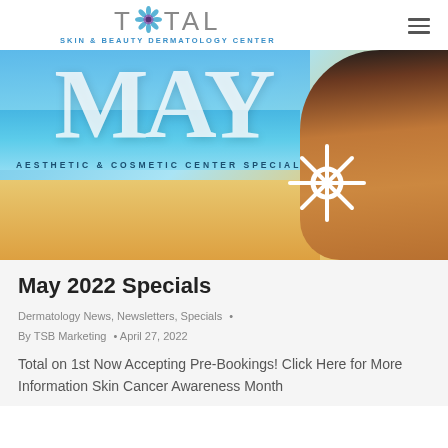TOTAL SKIN & BEAUTY DERMATOLOGY CENTER
[Figure (photo): Hero banner image showing beach scene with turquoise water and sky, large white text 'MAY', subtitle 'AESTHETIC & COSMETIC CENTER SPECIALS', and a woman's back with a white sunscreen sun-shape drawing on the shoulder.]
May 2022 Specials
Dermatology News, Newsletters, Specials  •
By TSB Marketing  •  April 27, 2022
Total on 1st Now Accepting Pre-Bookings! Click Here for More Information Skin Cancer Awareness Month